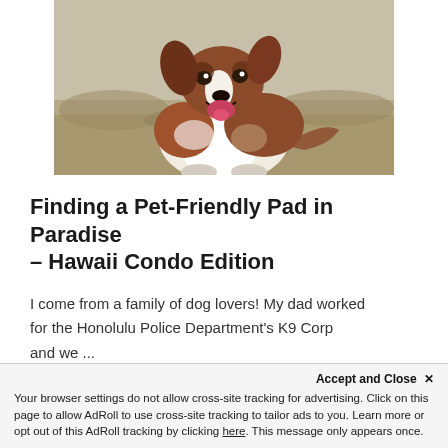[Figure (photo): A brown and white Australian Shepherd dog running outdoors with mouth open, appearing happy, against a blurred natural background.]
Finding a Pet-Friendly Pad in Paradise – Hawaii Condo Edition
I come from a family of dog lovers! My dad worked for the Honolulu Police Department's K9 Corp and we ...
Maile Kessler  |  May 5, 2022
Accept and Close ✕
Your browser settings do not allow cross-site tracking for advertising. Click on this page to allow AdRoll to use cross-site tracking to tailor ads to you. Learn more or opt out of this AdRoll tracking by clicking here. This message only appears once.